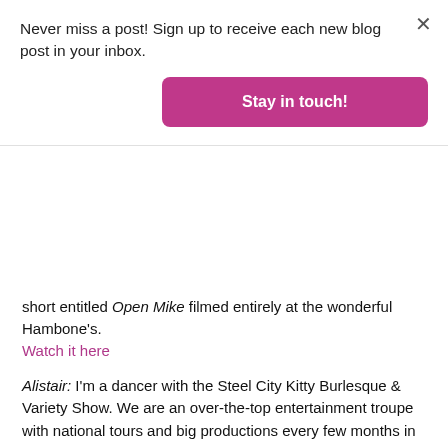Never miss a post! Sign up to receive each new blog post in your inbox.
Stay in touch!
short entitled Open Mike filmed entirely at the wonderful Hambone's.
Watch it here
Alistair: I'm a dancer with the Steel City Kitty Burlesque & Variety Show. We are an over-the-top entertainment troupe with national tours and big productions every few months in Pittsburgh and San Francisco. I've performed all across Europe, North America, and Australia, I've been a featured performer on America's Got Talent, "the Best of Burlesque" at the Edinburgh Festival Fringe, and I'm "King" of the Great Southern Exposure. I'm a professional penis caricature artist, a character actor (Playing roles such as Bob Ross, Mr. Rogers, Josephine Baker, and Richard Simmons), and I consider myself an exercise guru. I'm also an event producer at Pittsburgh's number one gay bar, the Blue Moon Bar on Butler St. I moved to Pittsburgh to study filmmaking and have made several web series projects since coming here: 'The Nomi Darling Show,